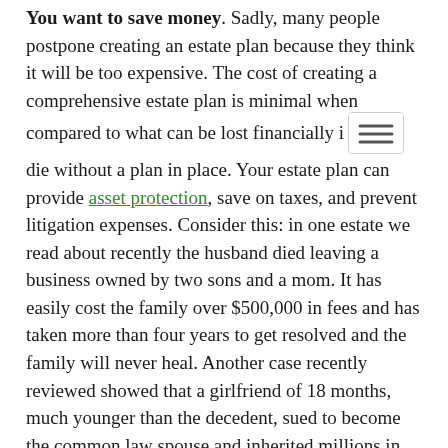You want to save money. Sadly, many people postpone creating an estate plan because they think it will be too expensive. The cost of creating a comprehensive estate plan is minimal when compared to what can be lost financially if you die without a plan in place. Your estate plan can provide asset protection, save on taxes, and prevent litigation expenses. Consider this: in one estate we read about recently the husband died leaving a business owned by two sons and a mom. It has easily cost the family over $500,000 in fees and has taken more than four years to get resolved and the family will never heal. Another case recently reviewed showed that a girlfriend of 18 months, much younger than the decedent, sued to become the common law spouse and inherited millions in property.
You want peace of mind. Once you create an estate plan, you will have the peace of mind that you are saving your family from stress and conflict. It will also give you the comfort of knowing that your own future and senior care is planned and provided for. By creating power of attorney documents and a